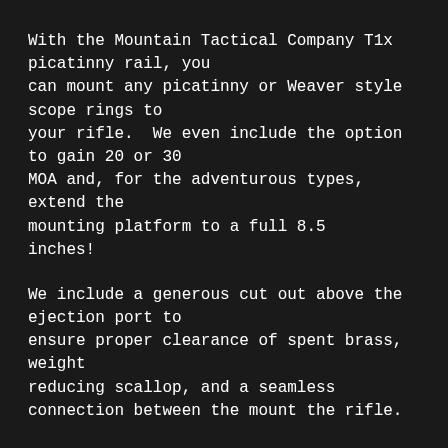With the Mountain Tactical Company T1x picatinny rail, you can mount any picatinny or Weaver style scope rings to your rifle.  We even include the option to gain 20 or 30 MOA and, for the adventurous types, extend the mounting platform to a full 8.5 inches!
We include a generous cut out above the ejection port to ensure proper clearance of spent brass, weight reducing scallop, and a seamless connection between the mount the rifle.
Your rifle is only as good as its weakest link.  Don't let your optic mount be the limiting factor on your rifle.
Grab a Mountain Tactical T1x scope mount today!